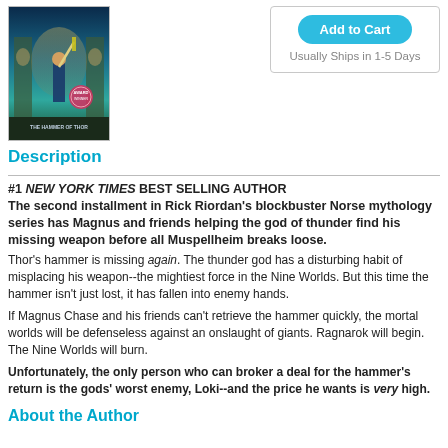[Figure (illustration): Book cover for 'The Hammer of Thor' by Rick Riordan, showing a fantasy scene with a figure and Norse imagery, with a medallion/award badge overlay]
[Figure (other): Add to Cart button with rounded teal/cyan background and 'Usually Ships in 1-5 Days' text below, inside a bordered box]
Description
#1 NEW YORK TIMES BEST SELLING AUTHOR
The second installment in Rick Riordan's blockbuster Norse mythology series has Magnus and friends helping the god of thunder find his missing weapon before all Muspellheim breaks loose.
Thor's hammer is missing again. The thunder god has a disturbing habit of misplacing his weapon--the mightiest force in the Nine Worlds. But this time the hammer isn't just lost, it has fallen into enemy hands.
If Magnus Chase and his friends can't retrieve the hammer quickly, the mortal worlds will be defenseless against an onslaught of giants. Ragnarok will begin. The Nine Worlds will burn.
Unfortunately, the only person who can broker a deal for the hammer's return is the gods' worst enemy, Loki--and the price he wants is very high.
About the Author